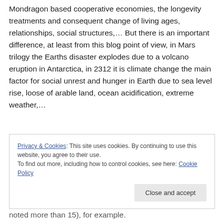Mondragon based cooperative economies, the longevity treatments and consequent change of living ages, relationships, social structures,… But there is an important difference, at least from this blog point of view, in Mars trilogy the Earths disaster explodes due to a volcano eruption in Antarctica, in 2312 it is climate change the main factor for social unrest and hunger in Earth due to sea level rise, loose of arable land, ocean acidification, extreme weather,…
Privacy & Cookies: This site uses cookies. By continuing to use this website, you agree to their use. To find out more, including how to control cookies, see here: Cookie Policy
noted more than 15), for example.